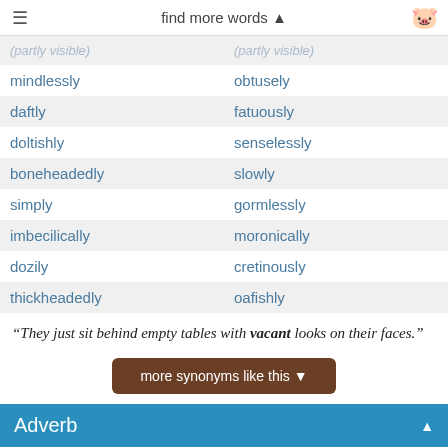find more words ▲
| (truncated) | (truncated) |
| mindlessly | obtusely |
| daftly | fatuously |
| doltishly | senselessly |
| boneheadedly | slowly |
| simply | gormlessly |
| imbecilically | moronically |
| dozily | cretinously |
| thickheadedly | oafishly |
“They just sit behind empty tables with vacant looks on their faces.”
more synonyms like this ▼
Adverb
Adverb for abandoned, or left unused, or